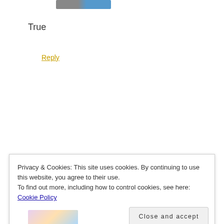[Figure (photo): Partial avatar/profile image thumbnail at top of comment]
True
Reply
Privacy & Cookies: This site uses cookies. By continuing to use this website, you agree to their use.
To find out more, including how to control cookies, see here: Cookie Policy
Close and accept
[Figure (photo): Partial thumbnail images at the bottom of page]